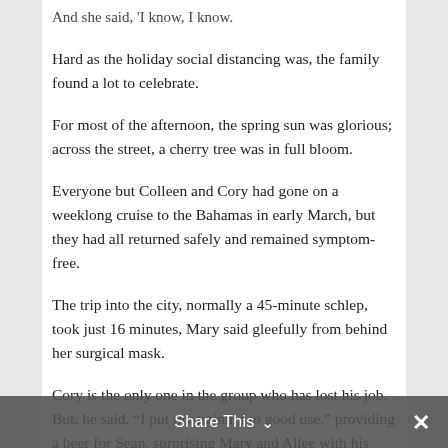And she said, 'I know, I know.'
Hard as the holiday social distancing was, the family found a lot to celebrate.
For most of the afternoon, the spring sun was glorious; across the street, a cherry tree was in full bloom.
Everyone but Colleen and Cory had gone on a weeklong cruise to the Bahamas in early March, but they had all returned safely and remained symptom-free.
The trip into the city, normally a 45-minute schlep, took just 16 minutes, Mary said gleefully from behind her surgical mask.
Cory is the only one in the group who has lost his job. But, he said, “I put my training to good use,” providing a beer for Sean, surprising Mary and Allee with his version of an espresso